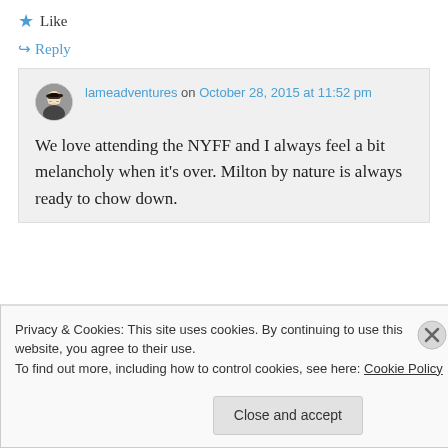★ Like
↪ Reply
lameadventures on October 28, 2015 at 11:52 pm
We love attending the NYFF and I always feel a bit melancholy when it's over. Milton by nature is always ready to chow down.
Privacy & Cookies: This site uses cookies. By continuing to use this website, you agree to their use. To find out more, including how to control cookies, see here: Cookie Policy